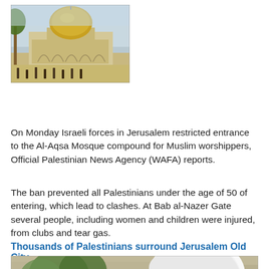[Figure (photo): Photo of the Al-Aqsa Mosque compound with the golden Dome of the Rock visible, people walking in the foreground]
On Monday Israeli forces in Jerusalem restricted entrance to the Al-Aqsa Mosque compound for Muslim worshippers, Official Palestinian News Agency (WAFA) reports.
The ban prevented all Palestinians under the age of 50 of entering, which lead to clashes. At Bab al-Nazer Gate several people, including women and children were injured, from clubs and tear gas.
Thousands of Palestinians surround Jerusalem Old City
[Figure (photo): Photo showing Palestinians near the walls of Jerusalem Old City, with a woman in a white hijab in the foreground on the right, and people gathered on grass near the stone walls in the background]